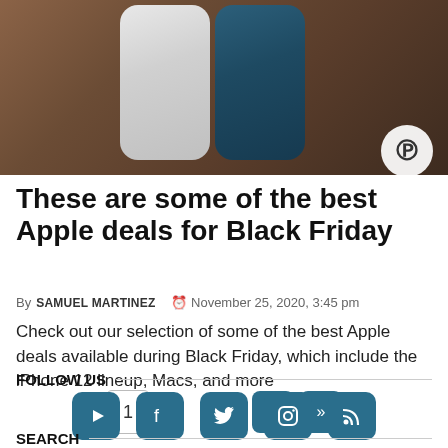[Figure (photo): Photo of two Apple devices (silver and blue) on a wooden surface with a circular P logo overlay]
These are some of the best Apple deals for Black Friday
By SAMUEL MARTINEZ  © November 25, 2020, 3:45 pm
Check out our selection of some of the best Apple deals available during Black Friday, which include the iPhone 12 lineup, Macs, and more
1  2  3  > >>
FOLLOW US
SEARCH